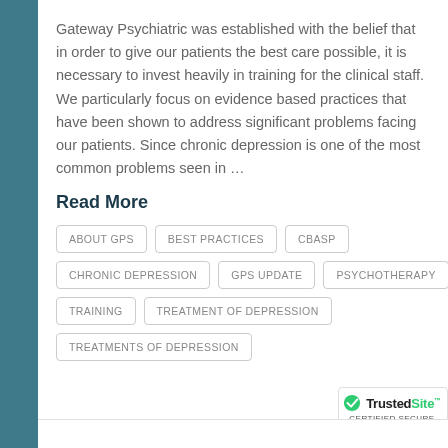Gateway Psychiatric was established with the belief that in order to give our patients the best care possible, it is necessary to invest heavily in training for the clinical staff. We particularly focus on evidence based practices that have been shown to address significant problems facing our patients. Since chronic depression is one of the most common problems seen in …
Read More
ABOUT GPS
BEST PRACTICES
CBASP
CHRONIC DEPRESSION
GPS UPDATE
PSYCHOTHERAPY
TRAINING
TREATMENT OF DEPRESSION
TREATMENTS OF DEPRESSION
[Figure (logo): TrustedSite Certified Secure badge with green checkmark]